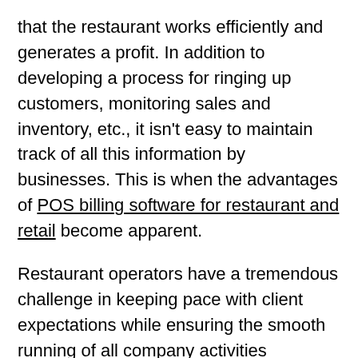that the restaurant works efficiently and generates a profit. In addition to developing a process for ringing up customers, monitoring sales and inventory, etc., it isn't easy to maintain track of all this information by businesses. This is when the advantages of POS billing software for restaurant and retail become apparent.
Restaurant operators have a tremendous challenge in keeping pace with client expectations while ensuring the smooth running of all company activities simultaneously in the fast-paced restaurant sector. A full point-of-sale (POS) system or online invoicing software may be implemented to meet this demand. A point-of-sale restaurant system can potentially increase productivity by as much as 300%.
When businesses invest in a POS billing software like MOON POS, they get numerous benefits for streamlining their business processes and establishing a good customer